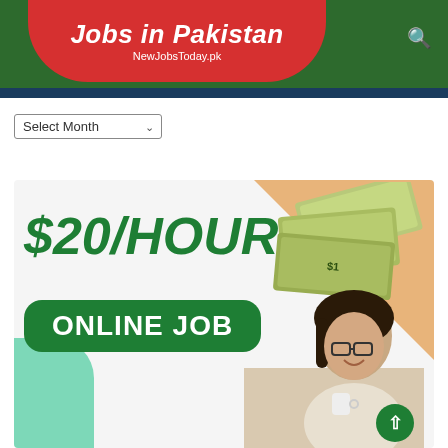Jobs in Pakistan
NewJobsToday.pk
[Figure (screenshot): Jobs in Pakistan website header with red rounded badge logo on dark green bar, showing site name 'Jobs in Pakistan' and URL 'NewJobsToday.pk']
[Figure (infographic): Job advertisement banner showing '$20/HOUR ONLINE JOB' in large green bold text with a photo of a young woman with glasses smiling at a laptop, currency bills graphic, peach triangular accent, and mint green accent. A green scroll-to-top button appears in the bottom right corner.]